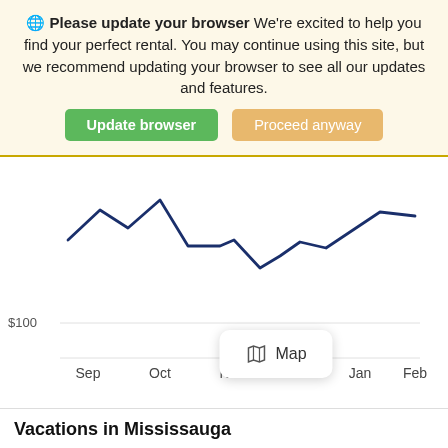Please update your browser We're excited to help you find your perfect rental. You may continue using this site, but we recommend updating your browser to see all our updates and features.
Update browser | Proceed anyway
[Figure (line-chart): ]
Map
Vacations in Mississauga